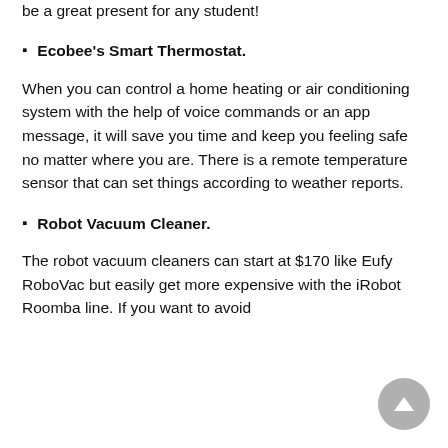be a great present for any student!
Ecobee's Smart Thermostat.
When you can control a home heating or air conditioning system with the help of voice commands or an app message, it will save you time and keep you feeling safe no matter where you are. There is a remote temperature sensor that can set things according to weather reports.
Robot Vacuum Cleaner.
The robot vacuum cleaners can start at $170 like Eufy RoboVac but easily get more expensive with the iRobot Roomba line. If you want to avoid